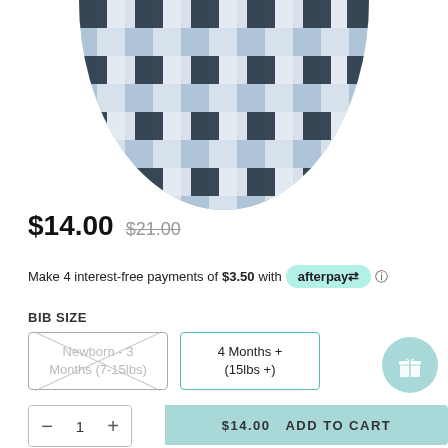[Figure (photo): Circular/half-circle view of a blue and dark navy plaid/buffalo check fabric bib, cropped at top]
$14.00  $21.00
Make 4 interest-free payments of $3.50 with afterpay ℹ
BIB SIZE
Newborn - 3 Months (7-15lbs)
4 Months + (15lbs +)
— 1 +
$14.00  ADD TO CART